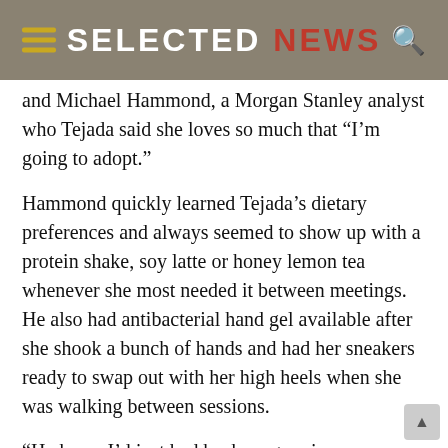SELECTED NEWS
and Michael Hammond, a Morgan Stanley analyst who Tejada said she loves so much that “I’m going to adopt.”
Hammond quickly learned Tejada’s dietary preferences and always seemed to show up with a protein shake, soy latte or honey lemon tea whenever she most needed it between meetings. He also had antibacterial hand gel available after she shook a bunch of hands and had her sneakers ready to swap out with her high heels when she was walking between sessions.
“He knew I’d just had back surgery in December,” she said.
All that was in addition to Hammond’s knowledge…